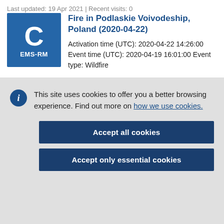Last updated: 19 Apr 2021 | Recent visits: 0
[Figure (logo): Blue square logo with large letter C and text EMS-RM]
Fire in Podlaskie Voivodeship, Poland (2020-04-22)
Activation time (UTC): 2020-04-22 14:26:00 Event time (UTC): 2020-04-19 16:01:00 Event type: Wildfire
This site uses cookies to offer you a better browsing experience. Find out more on how we use cookies.
Accept all cookies
Accept only essential cookies